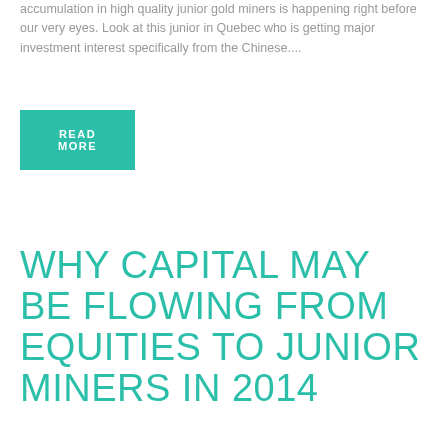accumulation in high quality junior gold miners is happening right before our very eyes. Look at this junior in Quebec who is getting major investment interest specifically from the Chinese....
READ MORE
WHY CAPITAL MAY BE FLOWING FROM EQUITIES TO JUNIOR MINERS IN 2014